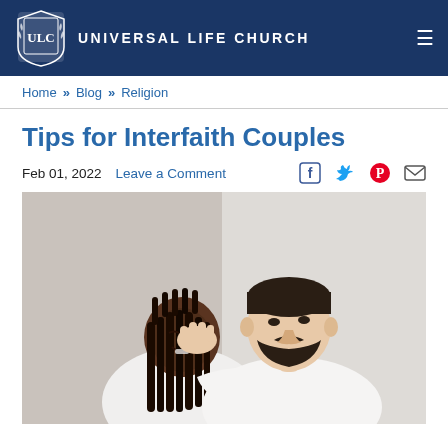UNIVERSAL LIFE CHURCH
Home » Blog » Religion
Tips for Interfaith Couples
Feb 01, 2022   Leave a Comment
[Figure (photo): An interfaith couple embracing closely, a man kissing the forehead of a smiling woman with braided hair, both wearing white t-shirts against a light background.]